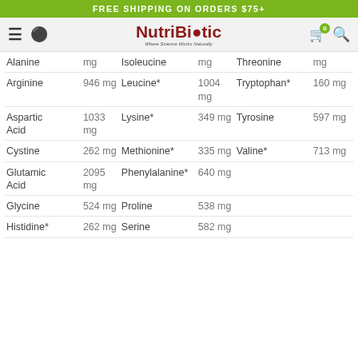FREE SHIPPING ON ORDERS $75+
[Figure (logo): NutriBiotic logo with globe icon and tagline 'Where Science Works Naturally']
| Amino Acid | Amount | Amino Acid | Amount | Amino Acid | Amount |
| --- | --- | --- | --- | --- | --- |
| Alanine | mg | Isoleucine | mg | Threonine | mg |
| Arginine | 946 mg | Leucine* | 1004 mg | Tryptophan* | 160 mg |
| Aspartic Acid | 1033 mg | Lysine* | 349 mg | Tyrosine | 597 mg |
| Cystine | 262 mg | Methionine* | 335 mg | Valine* | 713 mg |
| Glutamic Acid | 2095 mg | Phenylalanine* | 640 mg |  |  |
| Glycine | 524 mg | Proline | 538 mg |  |  |
| Histidine* | 262 mg | Serine | 582 mg |  |  |